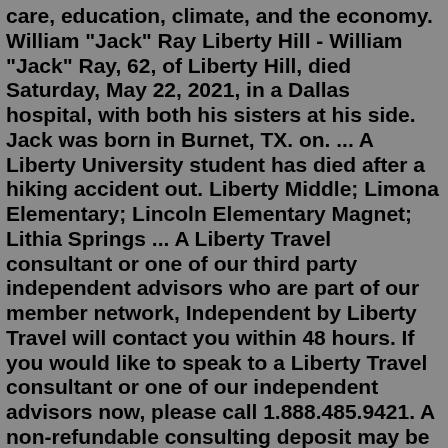care, education, climate, and the economy. William "Jack" Ray Liberty Hill - William "Jack" Ray, 62, of Liberty Hill, died Saturday, May 22, 2021, in a Dallas hospital, with both his sisters at his side. Jack was born in Burnet, TX. on. ... A Liberty University student has died after a hiking accident out. Liberty Middle; Limona Elementary; Lincoln Elementary Magnet; Lithia Springs ... A Liberty Travel consultant or one of our third party independent advisors who are part of our member network, Independent by Liberty Travel will contact you within 48 hours. If you would like to speak to a Liberty Travel consultant or one of our independent advisors now, please call 1.888.485.9421. A non-refundable consulting deposit may be ...Liberty hill student dies. samsung washing machine not cleaning clothes. Online Shopping: groundwork zenith young teens in shorts 582 bbc pump gas build The total tuition and living expense budget for in-state North Carolina residents to go to UNC Chapel Hill is $24,546 for the 2020/2021 academic year. Out-of-state students who don't have